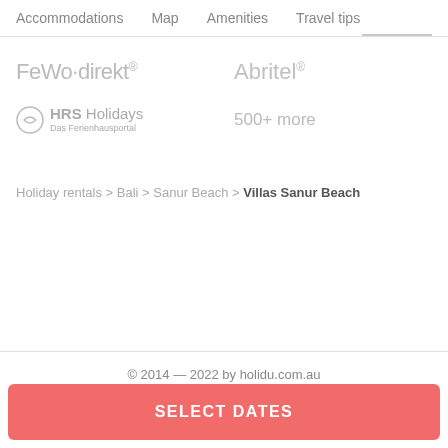Accommodations   Map   Amenities   Travel tips
[Figure (logo): FeWo-direkt logo in light grey text]
[Figure (logo): Abritel logo in light grey text]
[Figure (logo): HRS Holidays Das Ferienhausportal logo with circular icon in light grey]
500+ more
Holiday rentals > Bali > Sanur Beach > Villas Sanur Beach
© 2014 — 2022 by holidu.com.au
SELECT DATES